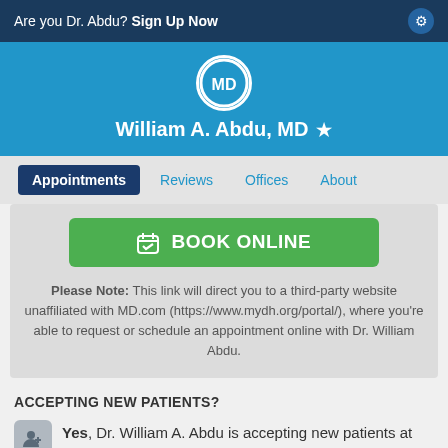Are you Dr. Abdu? Sign Up Now
William A. Abdu, MD
Appointments | Reviews | Offices | About
[Figure (screenshot): Green BOOK ONLINE button with calendar icon]
Please Note: This link will direct you to a third-party website unaffiliated with MD.com (https://www.mydh.org/portal/), where you're able to request or schedule an appointment online with Dr. William Abdu.
ACCEPTING NEW PATIENTS?
Yes, Dr. William A. Abdu is accepting new patients at this office.